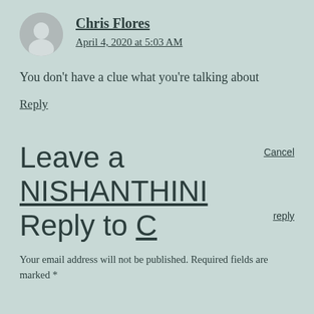Chris Flores
April 4, 2020 at 5:03 AM
You don't have a clue what you're talking about
Reply
Leave a NISHANTHINI Cancel Reply to C reply
Your email address will not be published. Required fields are marked *